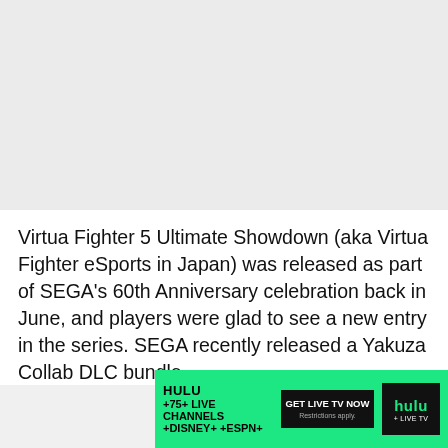[Figure (photo): Image placeholder area at top of page]
Virtua Fighter 5 Ultimate Showdown (aka Virtua Fighter eSports in Japan) was released as part of SEGA's 60th Anniversary celebration back in June, and players were glad to see a new entry in the series. SEGA recently released a Yakuza Collab DLC bundle
[Figure (other): Hulu advertisement banner: HULU +75+ LIVE CHANNELS +DISNEY+ +ESPN+, GET LIVE TV NOW, Restrictions apply. hulu +LIVE TV logo]